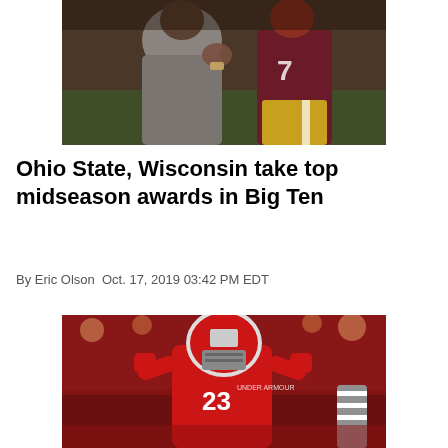[Figure (photo): Two football players in maroon and gold uniforms, one appears to be a coach or player gesturing, photographed from close up.]
Ohio State, Wisconsin take top midseason awards in Big Ten
By Eric Olson Oct. 17, 2019 03:42 PM EDT
[Figure (photo): Wisconsin Badgers football player number 23 in red uniform and helmet celebrating, with red-clad crowd in background and a referee visible.]